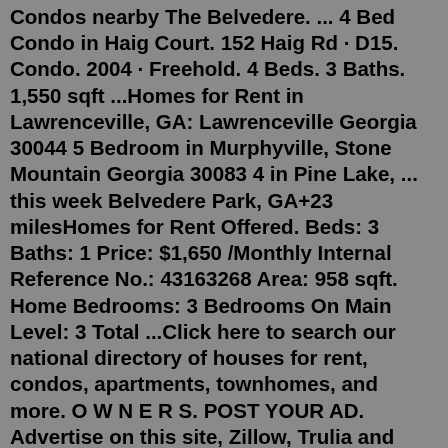Condos nearby The Belvedere. ... 4 Bed Condo in Haig Court. 152 Haig Rd · D15. Condo. 2004 · Freehold. 4 Beds. 3 Baths. 1,550 sqft ...Homes for Rent in Lawrenceville, GA: Lawrenceville Georgia 30044 5 Bedroom in Murphyville, Stone Mountain Georgia 30083 4 in Pine Lake, ... this week Belvedere Park, GA+23 milesHomes for Rent Offered. Beds: 3 Baths: 1 Price: $1,650 /Monthly Internal Reference No.: 43163268 Area: 958 sqft. Home Bedrooms: 3 Bedrooms On Main Level: 3 Total ...Click here to search our national directory of houses for rent, condos, apartments, townhomes, and more. O W N E R S. POST YOUR AD. Advertise on this site, Zillow, Trulia and distributed to other rental sites: 1 week for $29.95 on Zillow + 2 weeks for $49.95 (save 20%)View 1321 N Calvert St #4, Baltimore, MD 21202 rent availability including the monthly rent price and browse photos of this 2 bed, 1 bath condo. 1321 N Calvert St #4 is currently on market.See all 15 apartments in Belvedere Tiburon, CA currently available for rent. Each Apartments.com listing has